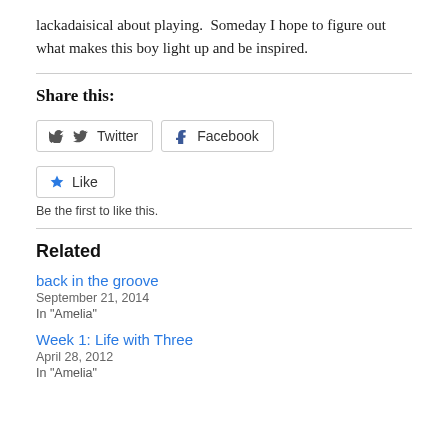lackadaisical about playing.  Someday I hope to figure out what makes this boy light up and be inspired.
Share this:
[Figure (other): Twitter and Facebook share buttons]
[Figure (other): Like button with star icon and 'Be the first to like this.' text]
Related
back in the groove
September 21, 2014
In "Amelia"
Week 1: Life with Three
April 28, 2012
In "Amelia"